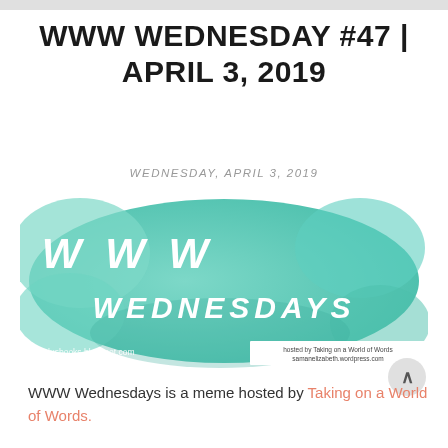WWW WEDNESDAY #47 | APRIL 3, 2019
WEDNESDAY, APRIL 3, 2019
[Figure (illustration): WWW Wednesdays banner image with teal watercolor background. Text reads 'WWW WEDNESDAYS' in white hand-lettered style. Bottom left: 'girlplusbooks.blogspot.com'. Bottom right white box: 'hosted by Taking on a World of Words / samanelizabeth.wordpress.com']
WWW Wednesdays is a meme hosted by Taking on a World of Words.